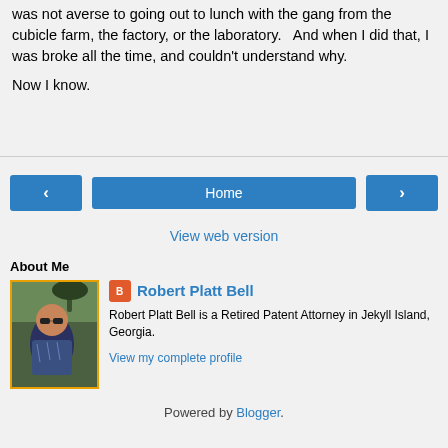was not averse to going out to lunch with the gang from the cubicle farm, the factory, or the laboratory.   And when I did that, I was broke all the time, and couldn't understand why.

Now I know.
‹    Home    ›
View web version
About Me
Robert Platt Bell
Robert Platt Bell is a Retired Patent Attorney in Jekyll Island, Georgia.
View my complete profile
Powered by Blogger.